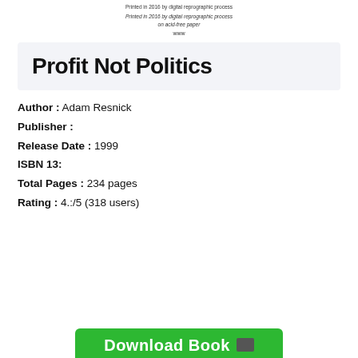Printed in 2016 by digital reprographic process on acid-free paper
www
Profit Not Politics
Author : Adam Resnick
Publisher :
Release Date : 1999
ISBN 13:
Total Pages : 234 pages
Rating : 4.:/5 (318 users)
[Figure (other): Green Download Book button with dark icon at bottom of page]